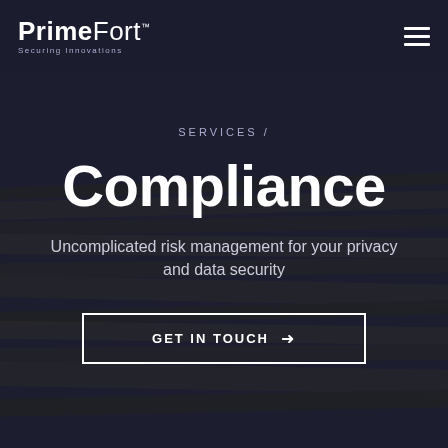PrimeFort™ Securing Innovations
SERVICES /
Compliance
Uncomplicated risk management for your privacy and data security
GET IN TOUCH →